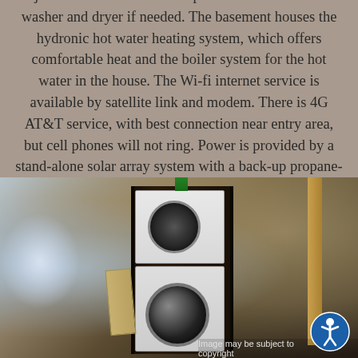Adjacent to the kitchen is the pocket door to access the washer and dryer if needed. The basement houses the hydronic hot water heating system, which offers comfortable heat and the boiler system for the hot water in the house. The Wi-fi internet service is available by satellite link and modem. There is 4G AT&T service, with best connection near entry area, but cell phones will not ring. Power is provided by a stand-alone solar array system with a back-up propane-fueled generator.
[Figure (photo): Photo of a stacked washer and dryer unit inside a dark wood cabinet enclosure, with a door frame visible on the right side and blurry bright area on the left.]
Image may be subject to copyright